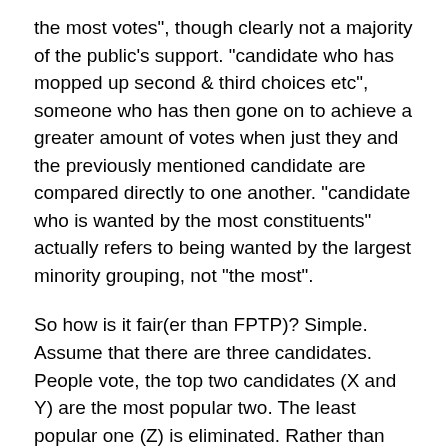the most votes", though clearly not a majority of the public's support. "candidate who has mopped up second & third choices etc", someone who has then gone on to achieve a greater amount of votes when just they and the previously mentioned candidate are compared directly to one another. "candidate who is wanted by the most constituents" actually refers to being wanted by the largest minority grouping, not "the most".
So how is it fair(er than FPTP)? Simple. Assume that there are three candidates. People vote, the top two candidates (X and Y) are the most popular two. The least popular one (Z) is eliminated. Rather than those voters being in a situation where they might as well not have turned up, they are told very clearly this:
The two candidates remaining are the winners of the